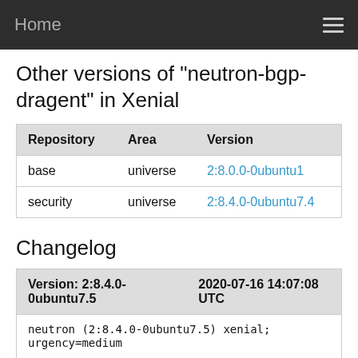Home
Other versions of "neutron-bgp-dragent" in Xenial
| Repository | Area | Version |
| --- | --- | --- |
| base | universe | 2:8.0.0-0ubuntu1 |
| security | universe | 2:8.4.0-0ubuntu7.4 |
Changelog
| Version: 2:8.4.0-0ubuntu7.5 | 2020-07-16 14:07:08 UTC |
| --- | --- |
| neutron (2:8.4.0-0ubuntu7.5) xenial; urgency=medium |  |